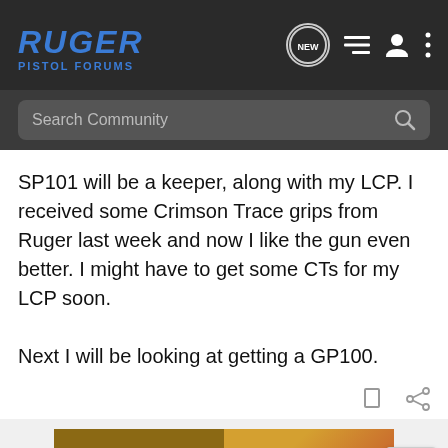RUGER PISTOL FORUMS
SP101 will be a keeper, along with my LCP. I received some Crimson Trace grips from Ruger last week and now I like the gun even better. I might have to get some CTs for my LCP soon.

Next I will be looking at getting a GP100.
[Figure (screenshot): Cabela's Fall advertisement banner with gold/brown background on left and orange hunting cap on right]
[Figure (screenshot): Springfield Armory GEAR UP promotion: 3 Extra Mags and Range Bag Free with any new striker fired handgun purchase]